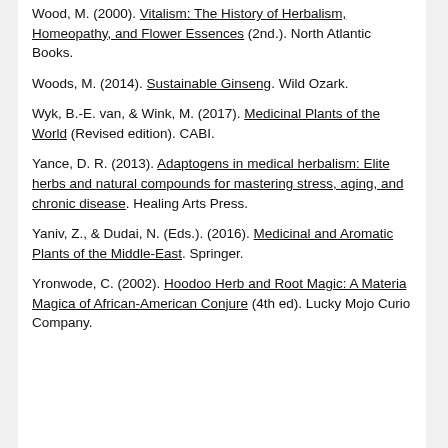Wood, M. (2000). Vitalism: The History of Herbalism, Homeopathy, and Flower Essences (2nd.). North Atlantic Books.
Woods, M. (2014). Sustainable Ginseng. Wild Ozark.
Wyk, B.-E. van, & Wink, M. (2017). Medicinal Plants of the World (Revised edition). CABI.
Yance, D. R. (2013). Adaptogens in medical herbalism: Elite herbs and natural compounds for mastering stress, aging, and chronic disease. Healing Arts Press.
Yaniv, Z., & Dudai, N. (Eds.). (2016). Medicinal and Aromatic Plants of the Middle-East. Springer.
Yronwode, C. (2002). Hoodoo Herb and Root Magic: A Materia Magica of African-American Conjure (4th ed). Lucky Mojo Curio Company.